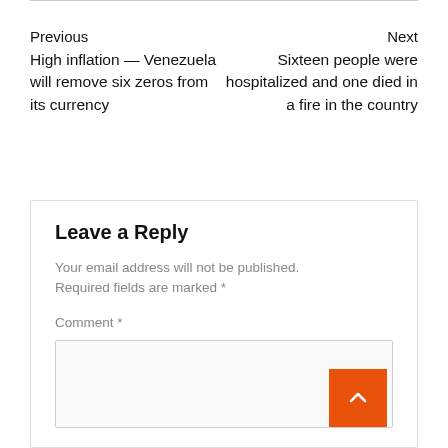Previous
Next
High inflation — Venezuela will remove six zeros from its currency
Sixteen people were hospitalized and one died in a fire in the country
Leave a Reply
Your email address will not be published. Required fields are marked *
Comment *